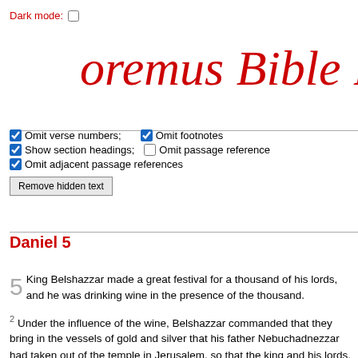Dark mode: ☐
oremus Bible Brow
☑ Omit verse numbers;  ☑ Omit footnotes
☑ Show section headings;  ☐ Omit passage reference
☑ Omit adjacent passage references
Remove hidden text
Daniel 5
5 King Belshazzar made a great festival for a thousand of his lords, and he was drinking wine in the presence of the thousand. 2 Under the influence of the wine, Belshazzar commanded that they bring in the vessels of gold and silver that his father Nebuchadnezzar had taken out of the temple in Jerusalem, so that the king and his lords, his wives, and his concubines might drink from them. 3So they brought in the vessels of gold...